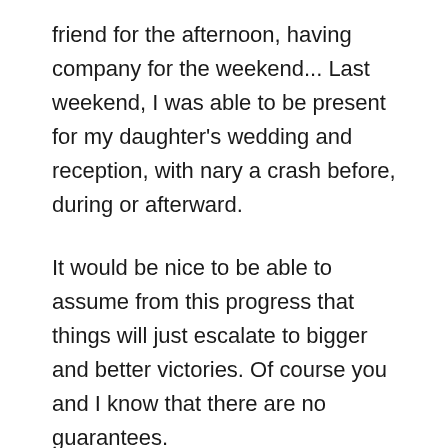friend for the afternoon, having company for the weekend... Last weekend, I was able to be present for my daughter's wedding and reception, with nary a crash before, during or afterward.
It would be nice to be able to assume from this progress that things will just escalate to bigger and better victories. Of course you and I know that there are no guarantees.
I do know, though, that whatever state I find myself in, living the half-life is still the way to go. It is the way to re-stabilize, to gain more energy, and to step into new things. As long as I do it by slowly and repeatedly making the unfamiliar more familiar. Because for some reason, the unfamiliar throws my body and brain into a tailspin